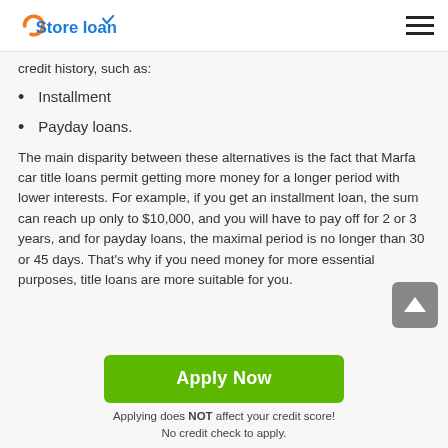Store loan
credit history, such as:
Installment
Payday loans.
The main disparity between these alternatives is the fact that Marfa car title loans permit getting more money for a longer period with lower interests. For example, if you get an installment loan, the sum can reach up only to $10,000, and you will have to pay off for 2 or 3 years, and for payday loans, the maximal period is no longer than 30 or 45 days. That's why if you need money for more essential purposes, title loans are more suitable for you.
Apply Now
Applying does NOT affect your credit score!
No credit check to apply.